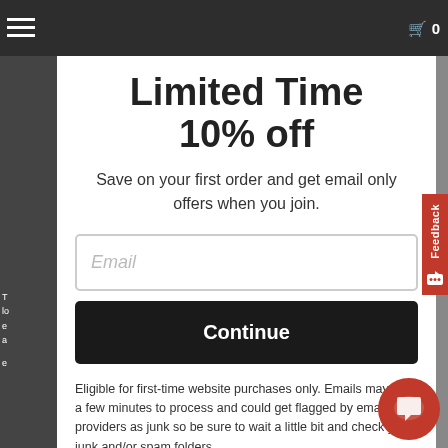Limited Time 10% off
Save on your first order and get email only offers when you join.
Email
Continue
Eligible for first-time website purchases only. Emails may take a few minutes to process and could get flagged by email providers as junk so be sure to wait a little bit and check your junk and/or spam folders.